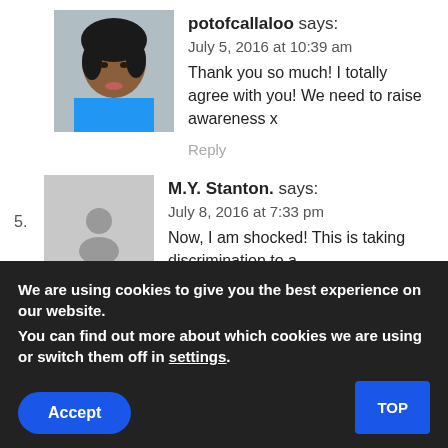[Figure (photo): Profile photo of potofcallaloo, a woman with dark hair wearing a blue top]
potofcallaloo says:
July 5, 2016 at 10:39 am
Thank you so much! I totally agree with you! We need to raise awareness x
Reply
5.
[Figure (illustration): Gray placeholder avatar icon for M.Y. Stanton]
M.Y. Stanton. says:
July 8, 2016 at 7:33 pm
Now, I am shocked! This is taking discrimination to a
We are using cookies to give you the best experience on our website.
You can find out more about which cookies we are using or switch them off in settings.
Accept
TOP